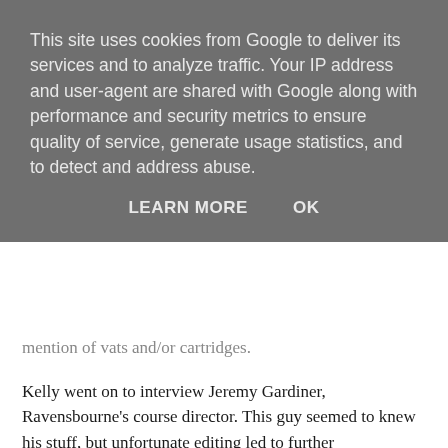This site uses cookies from Google to deliver its services and to analyze traffic. Your IP address and user-agent are shared with Google along with performance and security metrics to ensure quality of service, generate usage statistics, and to detect and address abuse.
LEARN MORE   OK
mention of vats and/or cartridges.
Kelly went on to interview Jeremy Gardiner, Ravensbourne's course director. This guy seemed to knew his stuff, but unfortunate editing led to further contradiction. Asked, “Is there anything you can’t use to print?” Gardiner replied, “There are certainly lots of different technologies out there. You can boil it down to two, really. Additive processes and subtractive ones.”
Notice the “two technologies” following Kelly’s “three processes” earlier. Not good. I know subtractive processes have a lot to offer within the big picture of engineering and manufacturing, but in the context of this programme, introducing the subtractive option was counter-productive.